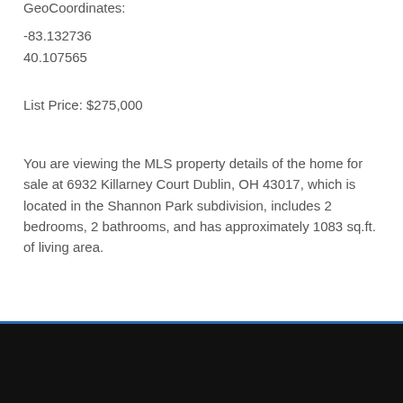GeoCoordinates:
-83.132736
40.107565
List Price: $275,000
You are viewing the MLS property details of the home for sale at 6932 Killarney Court Dublin, OH 43017, which is located in the Shannon Park subdivision, includes 2 bedrooms, 2 bathrooms, and has approximately 1083 sq.ft. of living area.